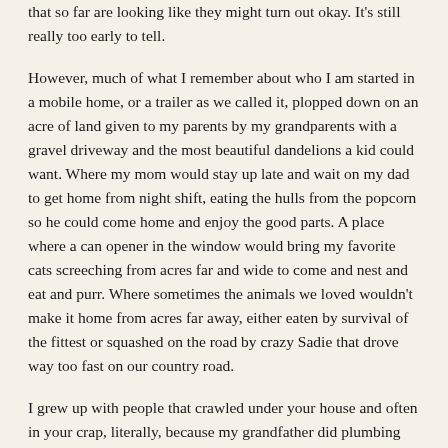that so far are looking like they might turn out okay.  It's still really too early to tell.
However, much of what I remember about who I am started in a mobile home, or a trailer as we called it, plopped down on an acre of land given to my parents by my grandparents with a gravel driveway and the most beautiful dandelions a kid could want.  Where my mom would stay up late and wait on my dad to get home from night shift, eating the hulls from the popcorn so he could come home and enjoy the good parts.  A place where a can opener in the window would bring my favorite cats screeching from acres far and wide to come and nest and eat and purr.  Where sometimes the animals we loved wouldn't make it home from acres far away, either eaten by survival of the fittest or squashed on the road by crazy Sadie that drove way too fast on our country road.
I grew up with people that crawled under your house and often in your crap, literally, because my grandfather did plumbing and heating and lots of other jobs that you paid for because you never learned how to do.  You needed him and I learned about hard work and being paid for it.  I learned about sacrifice when many a family meal, he would get up and go because your toilet didn't work or